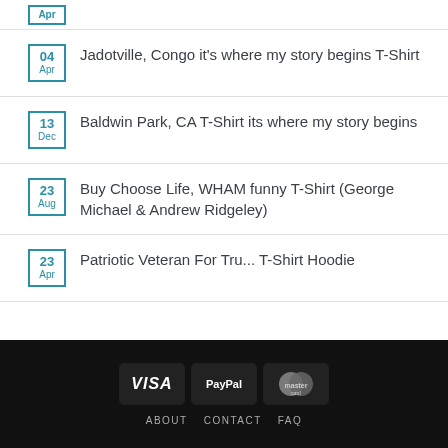Apr (partial top item)
04 Apr — Jadotville, Congo it's where my story begins T-Shirt
13 Dec — Baldwin Park, CA T-Shirt its where my story begins
23 Aug — Buy Choose Life, WHAM funny T-Shirt (George Michael & Andrew Ridgeley)
23 Apr — Patriotic Veteran For Tru... T-Shirt Hoodie
[Figure (infographic): Footer with VISA, PayPal, MasterCard payment icons on dark background, and navigation links: ABOUT, CONTACT, FAQ]